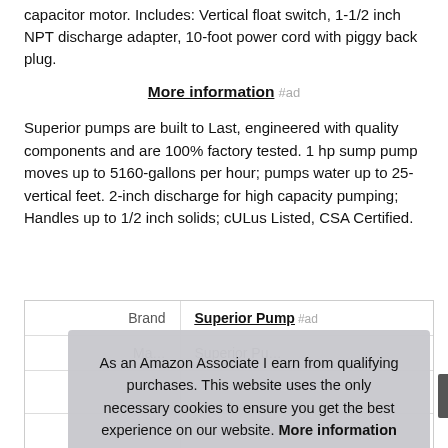capacitor motor. Includes: Vertical float switch, 1-1/2 inch NPT discharge adapter, 10-foot power cord with piggy back plug.
More information #ad
Superior pumps are built to Last, engineered with quality components and are 100% factory tested. 1 hp sump pump moves up to 5160-gallons per hour; pumps water up to 25-vertical feet. 2-inch discharge for high capacity pumping; Handles up to 1/2 inch solids; cULus Listed, CSA Certified.
|  |  |
| --- | --- |
| Brand | Superior Pump #ad |
| Ma... | Superior Pu... |
As an Amazon Associate I earn from qualifying purchases. This website uses the only necessary cookies to ensure you get the best experience on our website. More information